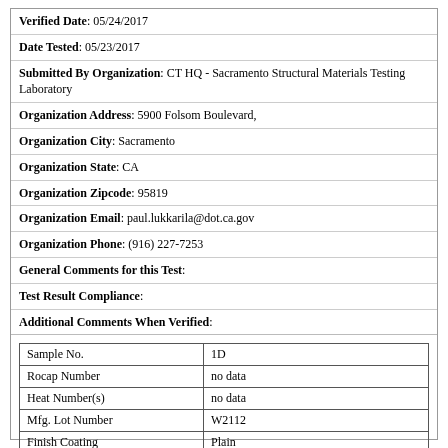Verified Date: 05/24/2017
Date Tested: 05/23/2017
Submitted By Organization: CT HQ - Sacramento Structural Materials Testing Laboratory
Organization Address: 5900 Folsom Boulevard,
Organization City: Sacramento
Organization State: CA
Organization Zipcode: 95819
Organization Email: paul.lukkarila@dot.ca.gov
Organization Phone: (916) 227-7253
General Comments for this Test:
Test Result Compliance:
Additional Comments When Verified:
|  |  |
| --- | --- |
| Sample No. | 1D |
| Rocap Number | no data |
| Heat Number(s) | no data |
| Mfg. Lot Number | W2112 |
| Finish Coating | Plain |
| Product Markings | 2H/DH LSF |
| Size | 2.5 in |
| Gage Type | Pass |